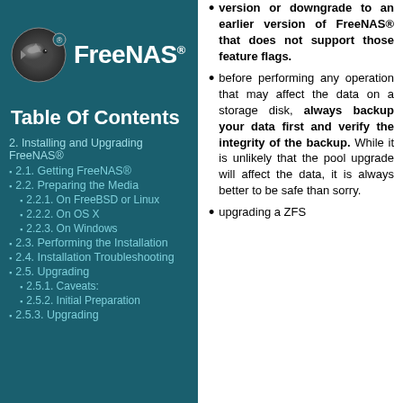[Figure (logo): FreeNAS logo with stylized shark/dolphin icon and FreeNAS® text]
Table Of Contents
2. Installing and Upgrading FreeNAS®
2.1. Getting FreeNAS®
2.2. Preparing the Media
2.2.1. On FreeBSD or Linux
2.2.2. On OS X
2.2.3. On Windows
2.3. Performing the Installation
2.4. Installation Troubleshooting
2.5. Upgrading
2.5.1. Caveats:
2.5.2. Initial Preparation
2.5.3. Upgrading
version or downgrade to an earlier version of FreeNAS® that does not support those feature flags.
before performing any operation that may affect the data on a storage disk, always backup your data first and verify the integrity of the backup. While it is unlikely that the pool upgrade will affect the data, it is always better to be safe than sorry.
upgrading a ZFS